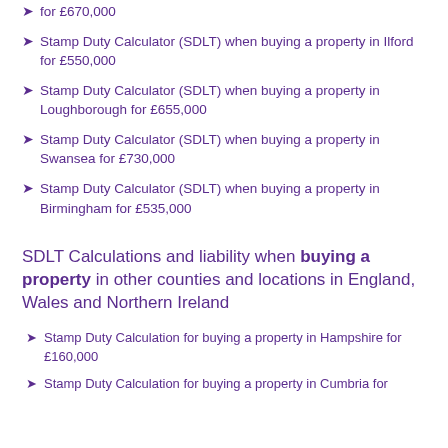Stamp Duty Calculator (SDLT) when buying a property in Ilford for £550,000
Stamp Duty Calculator (SDLT) when buying a property in Loughborough for £655,000
Stamp Duty Calculator (SDLT) when buying a property in Swansea for £730,000
Stamp Duty Calculator (SDLT) when buying a property in Birmingham for £535,000
SDLT Calculations and liability when buying a property in other counties and locations in England, Wales and Northern Ireland
Stamp Duty Calculation for buying a property in Hampshire for £160,000
Stamp Duty Calculation for buying a property in Cumbria for